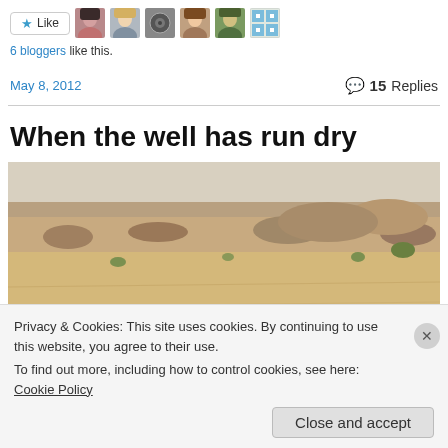[Figure (other): Like button with star icon followed by six avatar thumbnails of blog users]
6 bloggers like this.
May 8, 2012   💬 15 Replies
When the well has run dry
[Figure (photo): Desert landscape photo showing dry sandy ground with scattered rocks and sparse dry vegetation under a pale sky]
Privacy & Cookies: This site uses cookies. By continuing to use this website, you agree to their use.
To find out more, including how to control cookies, see here: Cookie Policy